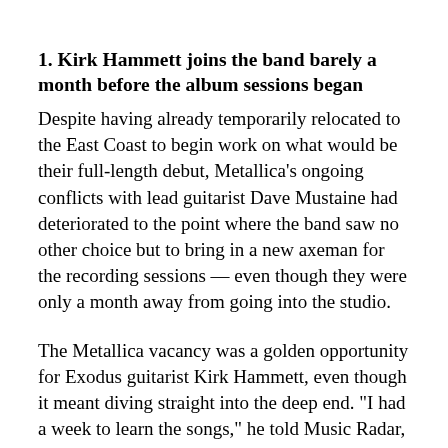1. Kirk Hammett joins the band barely a month before the album sessions began
Despite having already temporarily relocated to the East Coast to begin work on what would be their full-length debut, Metallica's ongoing conflicts with lead guitarist Dave Mustaine had deteriorated to the point where the band saw no other choice but to bring in a new axeman for the recording sessions — even though they were only a month away from going into the studio.
The Metallica vacancy was a golden opportunity for Exodus guitarist Kirk Hammett, even though it meant diving straight into the deep end. "I had a week to learn the songs," he told Music Radar,